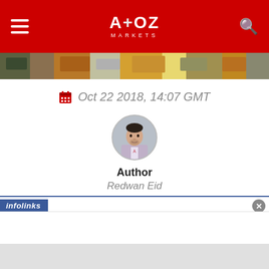A+OZ MARKETS
[Figure (photo): Partial view of vehicles/trucks in a lot, image strip at top of article]
Oct 22 2018, 14:07 GMT
[Figure (photo): Circular avatar photo of author Redwan Eid, a man in a suit]
Author
Redwan Eid
GET TRADING SIGNALS
Your capital is at risk.
infolinks